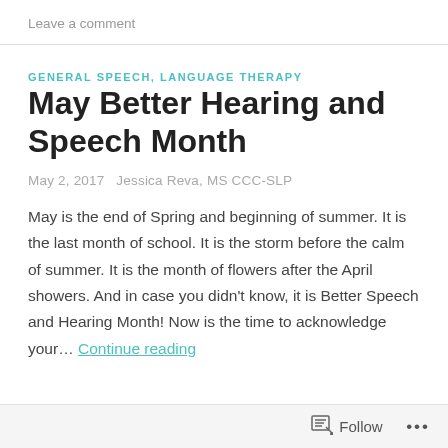Leave a comment
GENERAL SPEECH, LANGUAGE THERAPY
May Better Hearing and Speech Month
May 2, 2017   Jessica Reva, MS CCC-SLP
May is the end of Spring and beginning of summer.  It is the last month of school.  It is the storm before the calm of summer.  It is the month of flowers after the April showers.  And in case you didn't know, it is Better Speech and Hearing Month! Now is the time to acknowledge your… Continue reading
Follow ...